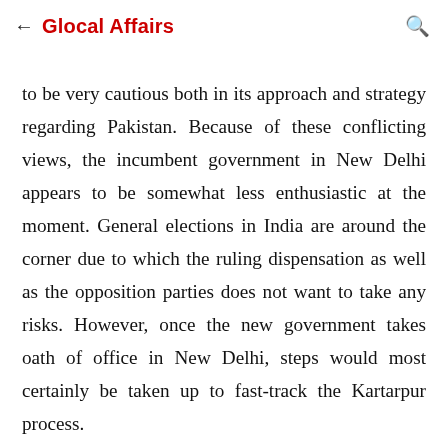← Glocal Affairs
to be very cautious both in its approach and strategy regarding Pakistan. Because of these conflicting views, the incumbent government in New Delhi appears to be somewhat less enthusiastic at the moment. General elections in India are around the corner due to which the ruling dispensation as well as the opposition parties does not want to take any risks. However, once the new government takes oath of office in New Delhi, steps would most certainly be taken up to fast-track the Kartarpur process.